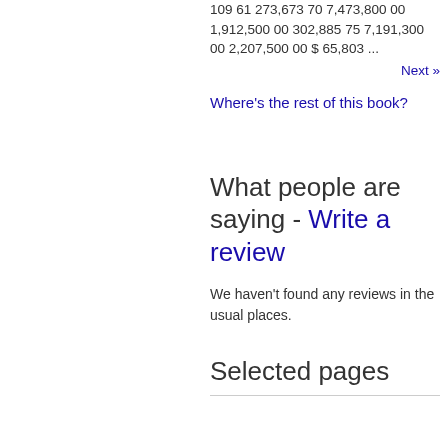109 61 273,673 70 7,473,800 00 1,912,500 00 302,885 75 7,191,300 00 2,207,500 00 $ 65,803 ...
Next »
Where's the rest of this book?
What people are saying - Write a review
We haven't found any reviews in the usual places.
Selected pages